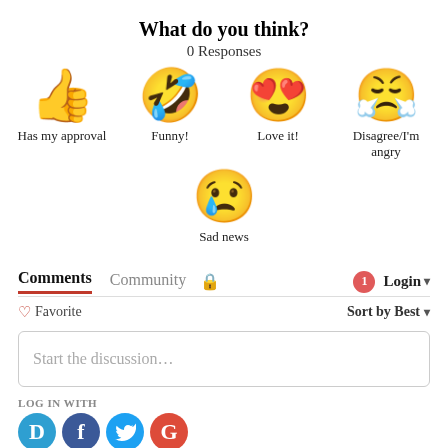What do you think?
0 Responses
[Figure (infographic): Four emoji reaction options in a row: thumbs up (Has my approval), laughing face with tongue out (Funny!), heart eyes face (Love it!), angry/crying face (Disagree/I'm angry)]
[Figure (infographic): Single emoji reaction: crying sad face (Sad news)]
Comments   Community   [lock icon]   [1 notification]   Login
♡ Favorite   Sort by Best
Start the discussion…
LOG IN WITH
[Figure (logo): Social login icons: Disqus (blue D), Facebook (dark blue f), Twitter (light blue bird), Google (red G)]